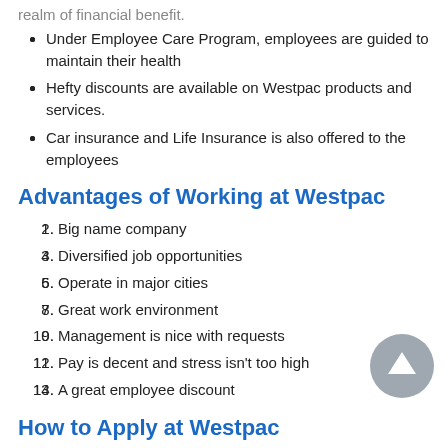Under Employee Care Program, employees are guided to maintain their health
Hefty discounts are available on Westpac products and services.
Car insurance and Life Insurance is also offered to the employees
Advantages of Working at Westpac
Big name company
Diversified job opportunities
Operate in major cities
Great work environment
Management is nice with requests
Pay is decent and stress isn't too high
A great employee discount
How to Apply at Westpac